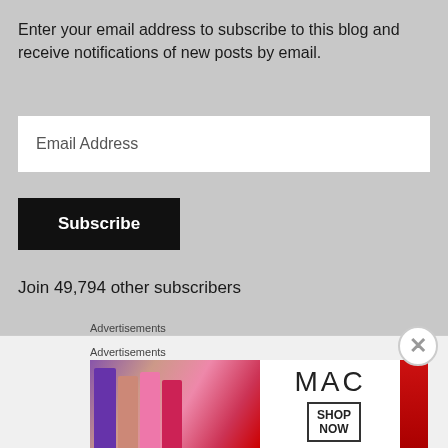Enter your email address to subscribe to this blog and receive notifications of new posts by email.
[Figure (screenshot): Email Address input field (white text box)]
[Figure (screenshot): Subscribe button (black background, white bold text)]
Join 49,794 other subscribers
Advertisements
[Figure (logo): Longreads advertisement banner with red background, circular L logo and LONGREADS text with decorative lines]
Advertisements
[Figure (screenshot): MAC cosmetics advertisement showing lipsticks and MAC logo with SHOP NOW button]